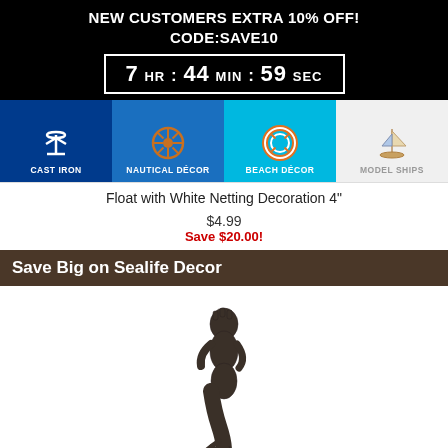NEW CUSTOMERS EXTRA 10% OFF!
CODE:SAVE10
7 HR : 44 MIN : 59 SEC
[Figure (screenshot): Navigation bar with four category icons: Cast Iron (anchor icon, dark blue), Nautical Décor (ship wheel icon, medium blue), Beach Décor (life ring icon, cyan), Model Ships (sailboat icon, light gray)]
Float with White Netting Decoration 4"
$4.99
Save $20.00!
Save Big on Sealife Decor
[Figure (photo): Cast iron decorative mermaid hook product photo, dark metal finish, mermaid figure with tail curl]
Cast Iron Decorative Mermaid Hook 6"